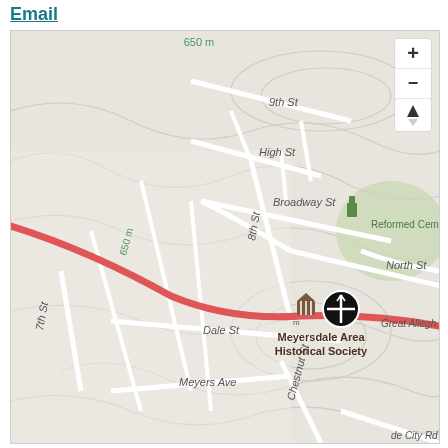Email
[Figure (map): Street map centered on Meyersdale Area Historical Society in Meyersdale, PA. Shows streets including 9th St, High St, Broadway St, North St, 8th St, 7th St, Dale St, Meyers Ave, Chestnut St. A red diagonal line (Great Allegheny Passage trail) runs through the map. A black circular marker with a crosshair icon marks the Historical Society location. A museum icon is nearby. The map shows topographic contour lines, a green area labeled Reformed Cemetery to the upper right, and elevation label '650 m'. Map controls (zoom in/out and compass) are in the upper right corner.]